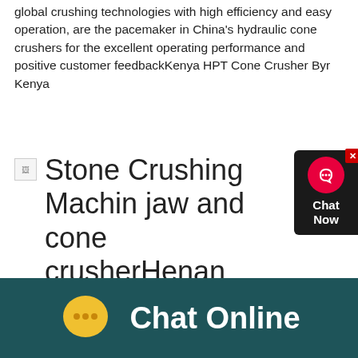global crushing technologies with high efficiency and easy operation, are the pacemaker in China's hydraulic cone crushers for the excellent operating performance and positive customer feedbackKenya HPT Cone Crusher Byr Kenya
Stone Crushing Machine jaw and cone crusherHenan
[Figure (other): Chat Now widget with headset icon on dark background, red close button in top-right corner]
stone dust crusher list in kerala cone crusher pyb 600 spare parts primary cone crusher manuals ore processing machinery washer manufacturing process manufacturing cone crusher quarry machines kenya second hand nw portable crusher plant crushers hammer mill used jaw crusher Stone Crushers Kenya stone crushers kenya
[Figure (other): Chat Online footer bar with yellow speech bubble icon and white text reading 'Chat Online' on dark teal background]